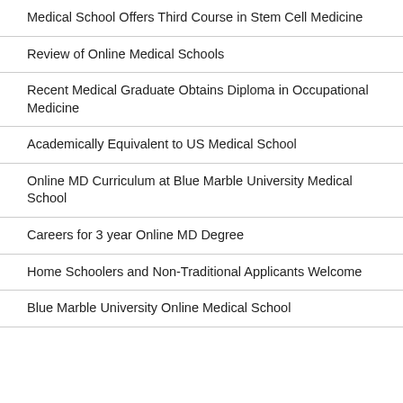Medical School Offers Third Course in Stem Cell Medicine
Review of Online Medical Schools
Recent Medical Graduate Obtains Diploma in Occupational Medicine
Academically Equivalent to US Medical School
Online MD Curriculum at Blue Marble University Medical School
Careers for 3 year Online MD Degree
Home Schoolers and Non-Traditional Applicants Welcome
Blue Marble University Online Medical School